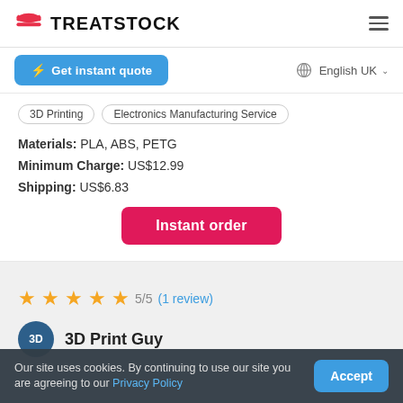TREATSTOCK
Get instant quote
English UK
3D Printing
Electronics Manufacturing Service
Materials: PLA, ABS, PETG
Minimum Charge: US$12.99
Shipping: US$6.83
Instant order
5/5 (1 review)
3D Print Guy
Our site uses cookies. By continuing to use our site you are agreeing to our Privacy Policy